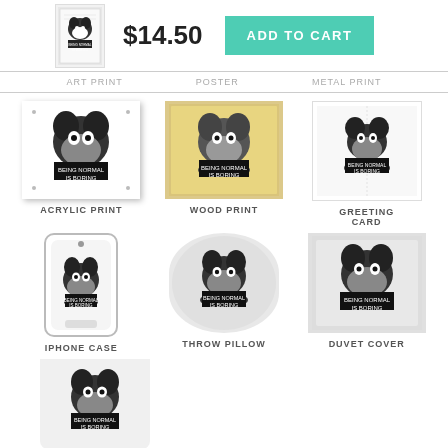[Figure (screenshot): Product thumbnail - French bulldog illustration on notebook/art print]
$14.50
ADD TO CART
ART PRINT
POSTER
METAL PRINT
[Figure (photo): Acrylic print product - French bulldog 'Being Normal Is Boring']
[Figure (photo): Wood print product - French bulldog 'Being Normal Is Boring']
[Figure (photo): Greeting card product - French bulldog 'Being Normal Is Boring']
ACRYLIC PRINT
WOOD PRINT
GREETING CARD
[Figure (photo): iPhone case product - French bulldog 'Being Normal Is Boring']
[Figure (photo): Throw pillow product - French bulldog 'Being Normal Is Boring']
[Figure (photo): Duvet cover product - French bulldog 'Being Normal Is Boring']
IPHONE CASE
THROW PILLOW
DUVET COVER
[Figure (photo): Mug product - French bulldog 'Being Normal Is Boring']
MUG